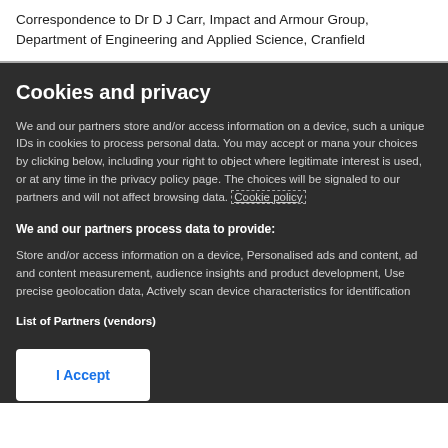Correspondence to Dr D J Carr, Impact and Armour Group, Department of Engineering and Applied Science, Cranfield
Cookies and privacy
We and our partners store and/or access information on a device, such as unique IDs in cookies to process personal data. You may accept or manage your choices by clicking below, including your right to object where legitimate interest is used, or at any time in the privacy policy page. These choices will be signaled to our partners and will not affect browsing data. Cookie policy
We and our partners process data to provide:
Store and/or access information on a device, Personalised ads and content, ad and content measurement, audience insights and product development, Use precise geolocation data, Actively scan device characteristics for identification
List of Partners (vendors)
I Accept